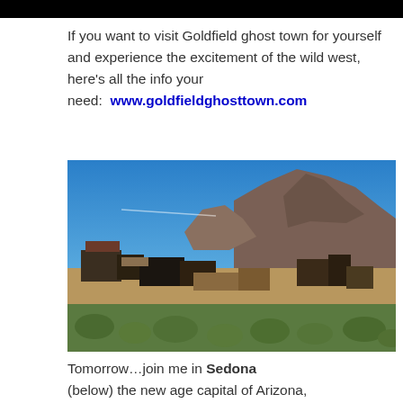If you want to visit Goldfield ghost town for yourself and experience the excitement of the wild west, here’s all the info your need:  www.goldfieldghosttown.com
[Figure (photo): Photograph of Goldfield ghost town with ruined old western buildings in the foreground and large rocky mountain peaks under a clear blue sky in the background, with desert vegetation.]
Tomorrow…join me in Sedona (below) the new age capital of Arizona,